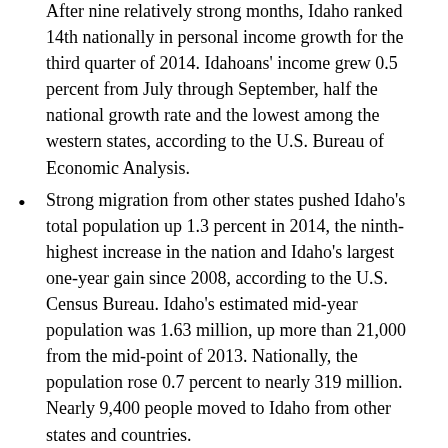After nine relatively strong months, Idaho ranked 14th nationally in personal income growth for the third quarter of 2014. Idahoans' income grew 0.5 percent from July through September, half the national growth rate and the lowest among the western states, according to the U.S. Bureau of Economic Analysis.
Strong migration from other states pushed Idaho's total population up 1.3 percent in 2014, the ninth-highest increase in the nation and Idaho's largest one-year gain since 2008, according to the U.S. Census Bureau. Idaho's estimated mid-year population was 1.63 million, up more than 21,000 from the mid-point of 2013. Nationally, the population rose 0.7 percent to nearly 319 million. Nearly 9,400 people moved to Idaho from other states and countries.
Higher individual and business income tax revenues offset some shortfalls in sales, product and miscellaneous taxes to boost total revenue to the state, according to the Idaho Division of Financial